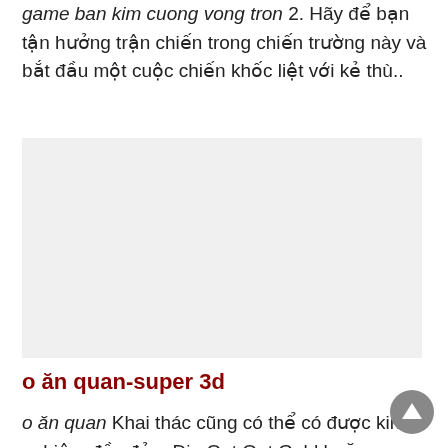game ban kim cuong vong tron 2. Hãy để bạn tận hưởng trận chiến trong chiến trường này và bắt đầu một cuộc chiến khốc liệt với kẻ thù..
[Figure (other): Light gray rectangular image placeholder area]
o ăn quan-super 3d
o ăn quan Khai thác cũng có thể có được kinh nghiệm đầy đủ ~ Dig Out Out Gold hoặc Black Iron Ore, có thể nhanh chóng có được tiền vàng và lấy các mảnh thiết bị, tăng cường thiết bị, giả